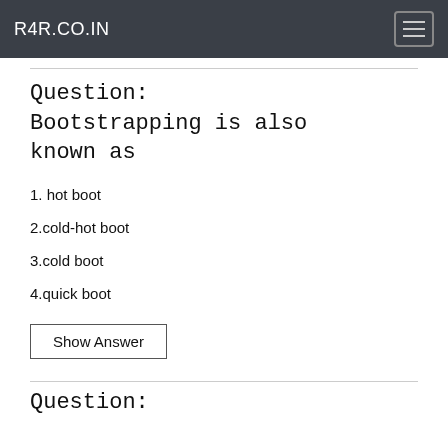R4R.CO.IN
Question: Bootstrapping is also known as
1. hot boot
2.cold-hot boot
3.cold boot
4.quick boot
Show Answer
Question: